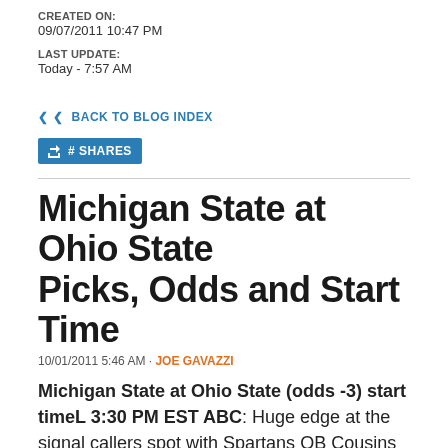CREATED ON:
09/07/2011 10:47 PM
LAST UPDATE:
Today - 7:57 AM
< BACK TO BLOG INDEX
# SHARES
Michigan State at Ohio State Picks, Odds and Start Time
10/01/2011 5:46 AM · JOE GAVAZZI
Michigan State at Ohio State (odds -3) start timeL 3:30 PM EST ABC: Huge edge at the signal callers spot with Spartans QB Cousins vs. FROSH QB Miller of the Buckeyes. And the underrated Spartan defensive front will be a more dominant unit on the field than their